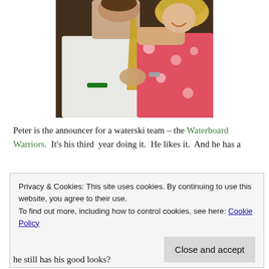[Figure (photo): A man in a white shirt and gold/yellow tie dancing or posing with a woman in a floral dress. The man has a green wristband. They are holding hands and smiling.]
Peter is the announcer for a waterski team – the Waterboard Warriors.  It's his third  year doing it.  He likes it.  And he has a
Privacy & Cookies: This site uses cookies. By continuing to use this website, you agree to their use.
To find out more, including how to control cookies, see here: Cookie Policy

Close and accept
he still has his good looks?